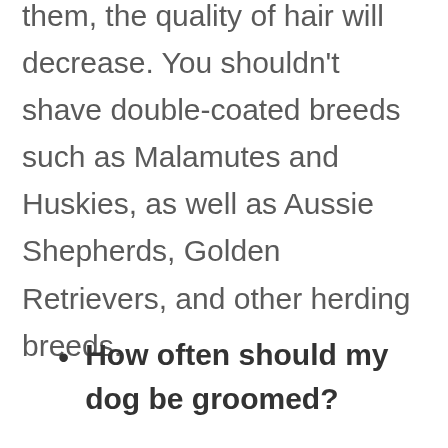them, the quality of hair will decrease. You shouldn't shave double-coated breeds such as Malamutes and Huskies, as well as Aussie Shepherds, Golden Retrievers, and other herding breeds.
How often should my dog be groomed?